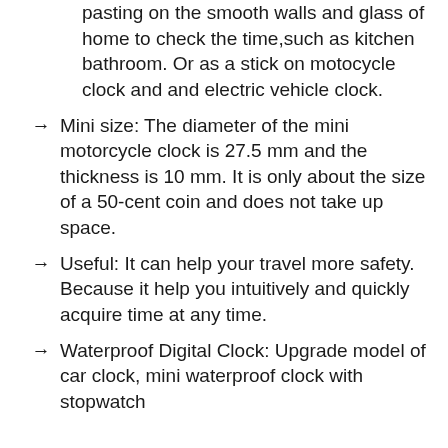pasting on the smooth walls and glass of home to check the time,such as kitchen bathroom. Or as a stick on motocycle clock and and electric vehicle clock.
Mini size: The diameter of the mini motorcycle clock is 27.5 mm and the thickness is 10 mm. It is only about the size of a 50-cent coin and does not take up space.
Useful: It can help your travel more safety. Because it help you intuitively and quickly acquire time at any time.
Waterproof Digital Clock: Upgrade model of car clock, mini waterproof clock with stopwatch